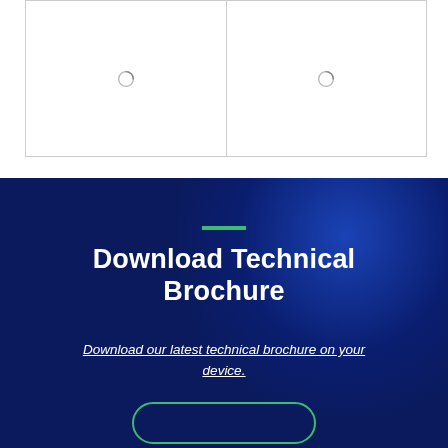[Figure (photo): Two placeholder image cells side by side with loading icons, bordered by a thin gray outline]
[Figure (illustration): Dark navy blue background section with blue radial glow, containing a green horizontal bar, bold white title text, underlined italic white link text, and a green-outlined rounded button at the bottom]
Download Technical Brochure
Download our latest technical brochure on your device.